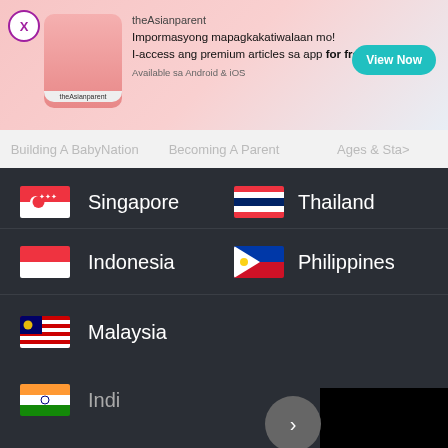[Figure (screenshot): theAsianparent app advertisement banner with logo, text in Filipino, and View Now button]
Building A BabyNation   Becoming A Parent   Ages & Sta>
Singapore
Thailand
Indonesia
Philippines
Malaysia
Indi...
[Figure (screenshot): Volalto Rentals - Book Online advertisement with OPEN button]
Tools   Articles   [home]   Feed   Poll
We use cookies to ensure you get the best experience.
Learn More   Ok, Got it